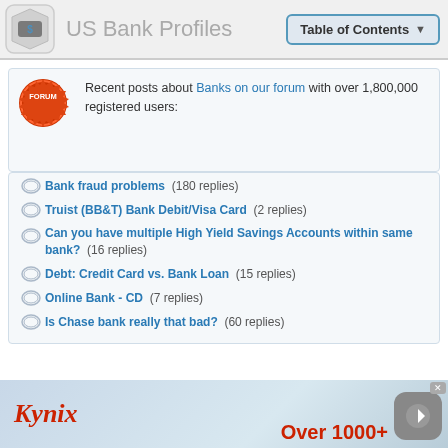US Bank Profiles
Recent posts about Banks on our forum with over 1,800,000 registered users:
Bank fraud problems  (180 replies)
Truist (BB&T) Bank Debit/Visa Card  (2 replies)
Can you have multiple High Yield Savings Accounts within same bank?  (16 replies)
Debt: Credit Card vs. Bank Loan  (15 replies)
Online Bank - CD  (7 replies)
Is Chase bank really that bad?  (60 replies)
[Figure (infographic): Kynix advertisement banner with logo and 'Over 1000+' text]